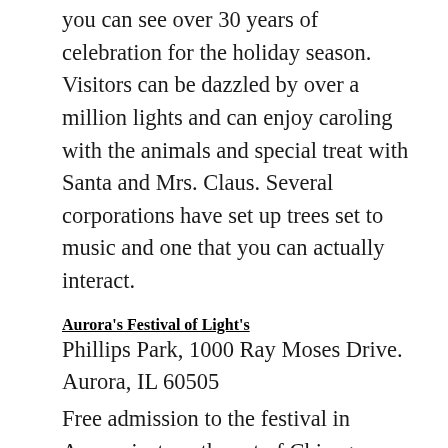you can see over 30 years of celebration for the holiday season. Visitors can be dazzled by over a million lights and can enjoy caroling with the animals and special treat with Santa and Mrs. Claus. Several corporations have set up trees set to music and one that you can actually interact.
Aurora's Festival of Light's
Phillips Park, 1000 Ray Moses Drive. Aurora, IL 60505
Free admission to the festival in Aurora just southwest of Chicago which is considered one of the largest displays. You can drive through a dazzling mile of lights that are animated and a Christmas Tree that is 20 feet tall and actually sings.